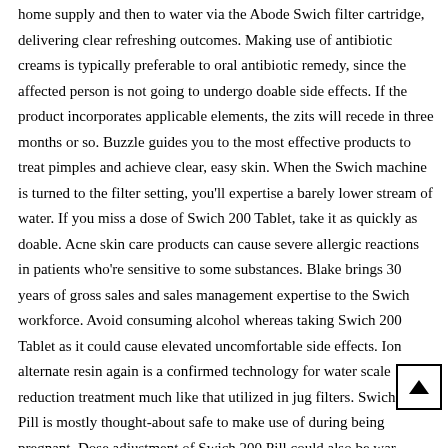home supply and then to water via the Abode Swich filter cartridge, delivering clear refreshing outcomes. Making use of antibiotic creams is typically preferable to oral antibiotic remedy, since the affected person is not going to undergo doable side effects. If the product incorporates applicable elements, the zits will recede in three months or so. Buzzle guides you to the most effective products to treat pimples and achieve clear, easy skin. When the Swich machine is turned to the filter setting, you'll expertise a barely lower stream of water. If you miss a dose of Swich 200 Tablet, take it as quickly as doable. Acne skin care products can cause severe allergic reactions in patients who're sensitive to some substances. Blake brings 30 years of gross sales and sales management expertise to the Swich workforce. Avoid consuming alcohol whereas taking Swich 200 Tablet as it could cause elevated uncomfortable side effects. Ion alternate resin again is a confirmed technology for water scale reduction treatment much like that utilized in jug filters. Swich 200 Pill is mostly thought-about safe to make use of during being pregnant. Dose adjustment of Swich 200 Pill could also be war... Blen the Score Management Board, the patient there... Score the vision...